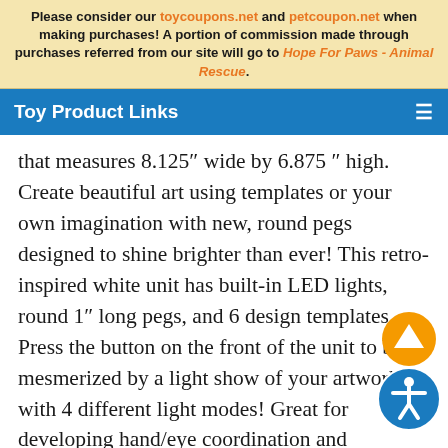Please consider our toycoupons.net and petcoupon.net when making purchases! A portion of commission made through purchases referred from our site will go to Hope For Paws - Animal Rescue.
Toy Product Links
that measures 8.125" wide by 6.875 " high. Create beautiful art using templates or your own imagination with new, round pegs designed to shine brighter than ever! This retro-inspired white unit has built-in LED lights, round 1" long pegs, and 6 design templates. Press the button on the front of the unit to be mesmerized by a light show of your artwork with 4 different light modes! Great for developing hand/eye coordination and inspirational for people of all ages.Updated Lite-Brite Ultimate Classic is now brighter then ever with a bigger screen and more pegs! Screen measures 8.125" W x 6.875" H. Includes more than 200 colorful, round, 1" long